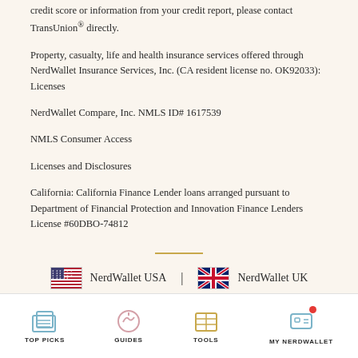credit score or information from your credit report, please contact TransUnion® directly.
Property, casualty, life and health insurance services offered through NerdWallet Insurance Services, Inc. (CA resident license no. OK92033): Licenses
NerdWallet Compare, Inc. NMLS ID# 1617539
NMLS Consumer Access
Licenses and Disclosures
California: California Finance Lender loans arranged pursuant to Department of Financial Protection and Innovation Finance Lenders License #60DBO-74812
[Figure (other): Horizontal gold divider line]
[Figure (other): Country navigation row with US flag and NerdWallet USA, UK flag and NerdWallet UK, Canadian flag and NerdWallet CA]
[Figure (other): Bottom navigation bar with icons: TOP PICKS, GUIDES, TOOLS, MY NERDWALLET]